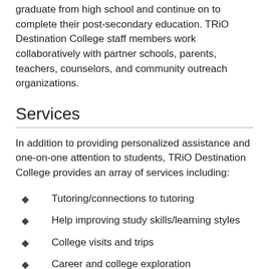graduate from high school and continue on to complete their post-secondary education. TRiO Destination College staff members work collaboratively with partner schools, parents, teachers, counselors, and community outreach organizations.
Services
In addition to providing personalized assistance and one-on-one attention to students, TRiO Destination College provides an array of services including:
Tutoring/connections to tutoring
Help improving study skills/learning styles
College visits and trips
Career and college exploration